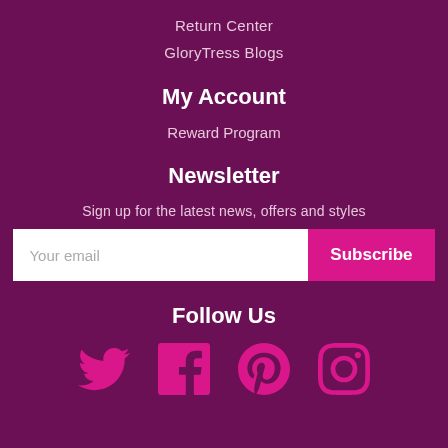Return Center
GloryTress Blogs
My Account
Reward Program
Newsletter
Sign up for the latest news, offers and styles
[Figure (other): Email subscription form with text input 'Your email' and a pink 'Subscribe' button]
Follow Us
[Figure (other): Social media icons: Twitter, Facebook, Pinterest, Instagram in pink color]